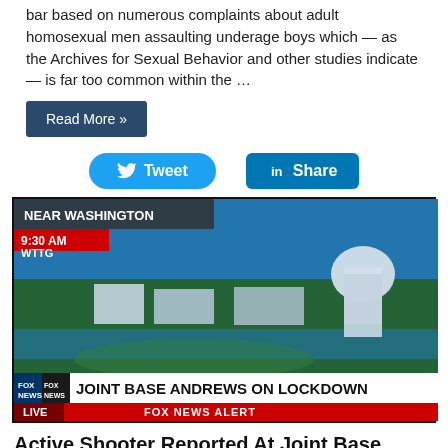bar based on numerous complaints about adult homosexual men assaulting underage boys which — as the Archives for Sexual Behavior and other studies indicate — is far too common within the …
Read More »
[Figure (screenshot): Fox News broadcast screenshot showing aerial view of Joint Base Andrews with chyron 'JOINT BASE ANDREWS ON LOCKDOWN' and 'FOX NEWS ALERT'. Upper left shows 'NEAR WASHINGTON', '9:30 AM', 'WTTG'. Lower left shows Fox News logo and 'LIVE' banner.]
Active Shooter Reported At Joint Base Andrews UPDATE: Report Was False Alarm, No Shooter Found